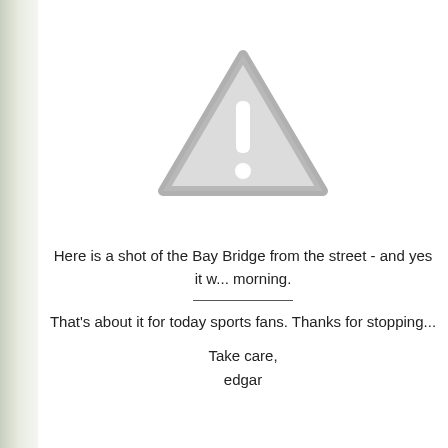[Figure (illustration): A grey warning triangle icon with an exclamation mark, centered in the upper portion of the page.]
Here is a shot of the Bay Bridge from the street - and yes it w... morning.
That's about it for today sports fans.  Thanks for stopping...
Take care,
edgar